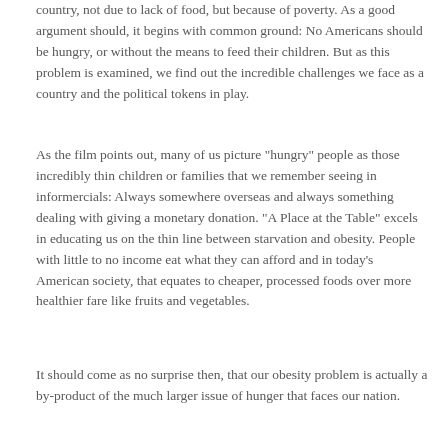country, not due to lack of food, but because of poverty. As a good argument should, it begins with common ground: No Americans should be hungry, or without the means to feed their children. But as this problem is examined, we find out the incredible challenges we face as a country and the political tokens in play.
As the film points out, many of us picture "hungry" people as those incredibly thin children or families that we remember seeing in informercials: Always somewhere overseas and always something dealing with giving a monetary donation. "A Place at the Table" excels in educating us on the thin line between starvation and obesity. People with little to no income eat what they can afford and in today's American society, that equates to cheaper, processed foods over more healthier fare like fruits and vegetables.
It should come as no surprise then, that our obesity problem is actually a by-product of the much larger issue of hunger that faces our nation.